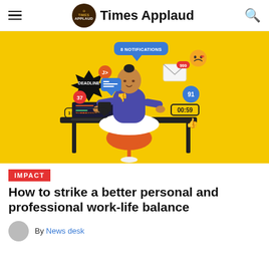Times Applaud
[Figure (illustration): Illustration of a person meditating in lotus position on a desk chair with a laptop, surrounded by floating notification icons, deadline bursts, comment badges, timer displays, and social media icons on a yellow background.]
IMPACT
How to strike a better personal and professional work-life balance
By News desk